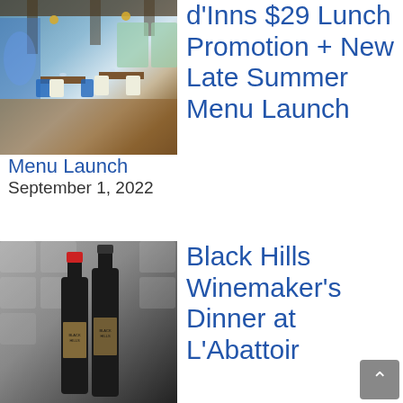[Figure (photo): Interior of a restaurant dining room with blue chairs, white chairs, wooden tables, chandeliers, and large windows showing greenery outside. A blue abstract artwork is visible on the left wall.]
d'Inns $29 Lunch Promotion + New Late Summer Menu Launch
September 1, 2022
[Figure (photo): Two Black Hills wine bottles standing in front of a wine rack with wooden slots. The left bottle has a red cap and the right has a dark cap.]
Black Hills Winemaker's Dinner at L'Abattoir